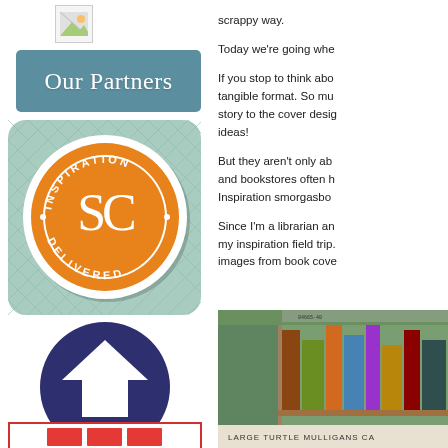[Figure (illustration): Small broken image placeholder thumbnail]
[Figure (illustration): Teal rounded-rectangle button with cursive white text reading 'Our Partners']
[Figure (logo): SC Inspiration Delivered circular badge logo on mint green patterned background, orange circle with white SC initials in script, text around ring reading INSPIRATION and DELIVERED]
[Figure (logo): Scrapbook.com logo: dark navy circle with white upward-pointing house/arrow icon, text below reading scrapbook.com]
[Figure (illustration): Partial red-bordered banner at bottom left, partially cut off]
scrappy way.
Today we're going whe
If you stop to think abo tangible format. So mu story to the cover desig ideas!
But they aren't only ab and bookstores often h Inspiration smorgasbo
Since I'm a librarian an my inspiration field trip. images from book cove
[Figure (photo): Photo of library or bookstore shelves with books, green shelving unit visible, books including titles visible on spines such as Mulligans]